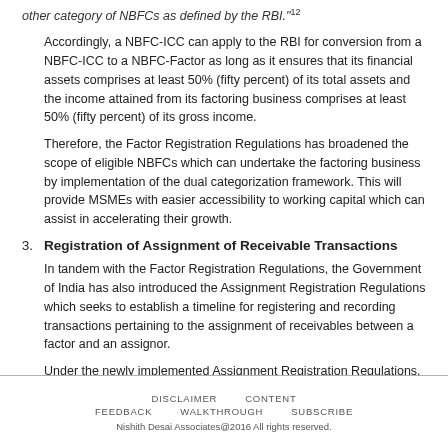other category of NBFCs as defined by the RBI."¹²
Accordingly, a NBFC-ICC can apply to the RBI for conversion from a NBFC-ICC to a NBFC-Factor as long as it ensures that its financial assets comprises at least 50% (fifty percent) of its total assets and the income attained from its factoring business comprises at least 50% (fifty percent) of its gross income.
Therefore, the Factor Registration Regulations has broadened the scope of eligible NBFCs which can undertake the factoring business by implementation of the dual categorization framework. This will provide MSMEs with easier accessibility to working capital which can assist in accelerating their growth.
3. Registration of Assignment of Receivable Transactions
In tandem with the Factor Registration Regulations, the Government of India has also introduced the Assignment Registration Regulations which seeks to establish a timeline for registering and recording transactions pertaining to the assignment of receivables between a factor and an assignor.
Under the newly implemented Assignment Registration Regulations, any trade receivables which have been funded through the trade receivables
DISCLAIMER   CONTENT
FEEDBACK   WALKTHROUGH   SUBSCRIBE
Nishith Desai Associates@2016 All rights reserved.